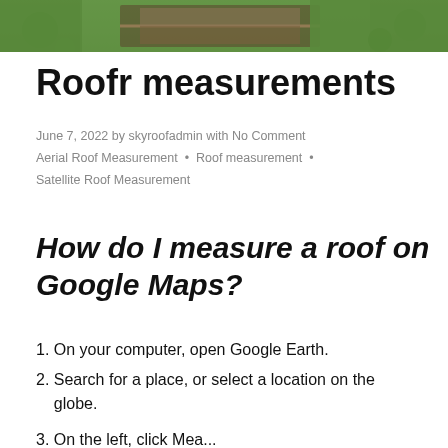[Figure (photo): Aerial photo of a house roof with green landscaping visible from above]
Roofr measurements
June 7, 2022 by skyroofadmin with No Comment
Aerial Roof Measurement  •  Roof measurement  •
Satellite Roof Measurement
How do I measure a roof on Google Maps?
1. On your computer, open Google Earth.
2. Search for a place, or select a location on the globe.
3. On the left, click Measure...